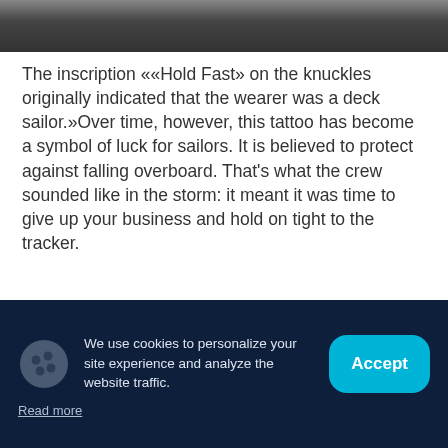[Figure (photo): Black and white close-up photo of hands/knuckles, partially visible at top of page]
The inscription ««Hold Fast» on the knuckles originally indicated that the wearer was a deck sailor.»Over time, however, this tattoo has become a symbol of luck for sailors. It is believed to protect against falling overboard. That's what the crew sounded like in the storm: it meant it was time to give up your business and hold on tight to the tracker.
Pig and rooster
We use cookies to personalize your site experience and analyze the website traffic.
Read more